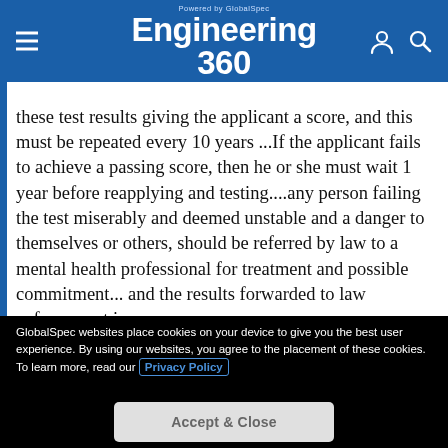Powered by GlobalSpec Engineering 360
these test results giving the applicant a score, and this must be repeated every 10 years ...If the applicant fails to achieve a passing score, then he or she must wait 1 year before reapplying and testing....any person failing the test miserably and deemed unstable and a danger to themselves or others, should be referred by law to a mental health professional for treatment and possible commitment... and the results forwarded to law enforcement in some cases ...
GlobalSpec websites place cookies on your device to give you the best user experience. By using our websites, you agree to the placement of these cookies. To learn more, read our Privacy Policy
Accept & Close